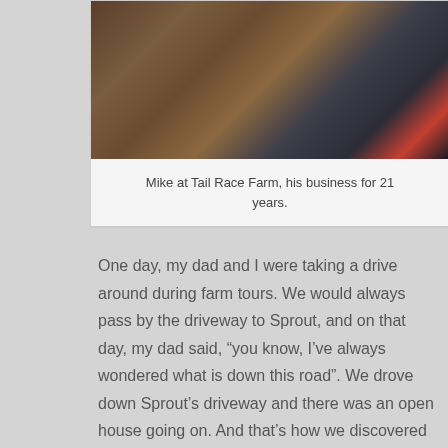[Figure (photo): Person riding a brown horse in a driveway, with a garage and car visible in the background. The rider is wearing a red top and dark pants.]
Mike at Tail Race Farm, his business for 21 years.
One day, my dad and I were taking a drive around during farm tours. We would always pass by the driveway to Sprout, and on that day, my dad said, “you know, I’ve always wondered what is down this road”. We drove down Sprout’s driveway and there was an open house going on. And that’s how we discovered Sprout.